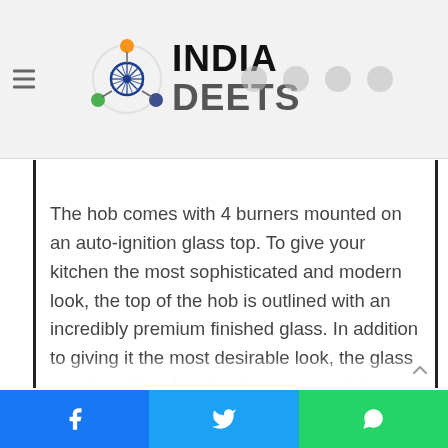[Figure (logo): India Deets website logo with Ashoka Chakra style icon in orange, blue, green colors, and text INDIA DEETS in bold dark gray]
The hob comes with 4 burners mounted on an auto-ignition glass top. To give your kitchen the most sophisticated and modern look, the top of the hob is outlined with an incredibly premium finished glass. In addition to giving it the most desirable look, the glass top also offers freedom from rust and thus, ensuring that the gas hob lasts maximum. The glass is durable, and it comes with a warranty of 5 years. The hob also provides a multi-flame controlling feature, which allows you to do multitasking easily. The knobs are metallic, which enables them to function
Facebook  Twitter  WhatsApp